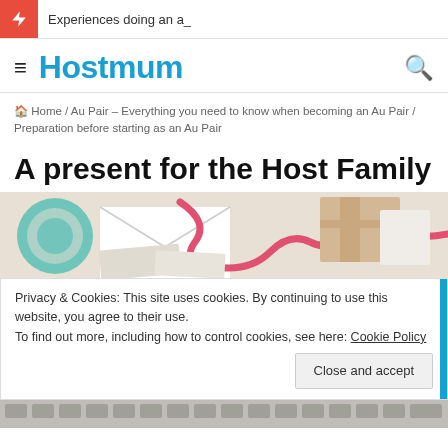Experiences doing an a_
Hostmum
Home / Au Pair – Everything you need to know when becoming an Au Pair / Preparation before starting as an Au Pair
A present for the Host Family
[Figure (photo): Wrapped gifts with red ribbons and decorative items on a light background]
Privacy & Cookies: This site uses cookies. By continuing to use this website, you agree to their use.
To find out more, including how to control cookies, see here: Cookie Policy
Close and accept
[Figure (photo): Partial view of a keyboard at the bottom of the page]